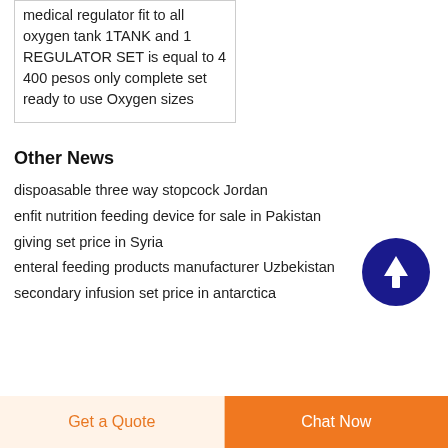medical regulator fit to all oxygen tank 1TANK and 1 REGULATOR SET is equal to 4 400 pesos only complete set ready to use Oxygen sizes
Other News
dispoasable three way stopcock Jordan
enfit nutrition feeding device for sale in Pakistan
giving set price in Syria
enteral feeding products manufacturer Uzbekistan
secondary infusion set price in antarctica
[Figure (other): Circular dark blue scroll-to-top button with upward arrow icon]
Get a Quote
Chat Now